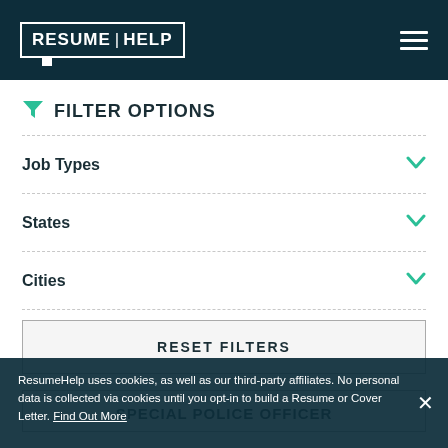RESUME HELP
FILTER OPTIONS
Job Types
States
Cities
RESET FILTERS
SPECIAL POLICE OFFICER
ResumeHelp uses cookies, as well as our third-party affiliates. No personal data is collected via cookies until you opt-in to build a Resume or Cover Letter. Find Out More